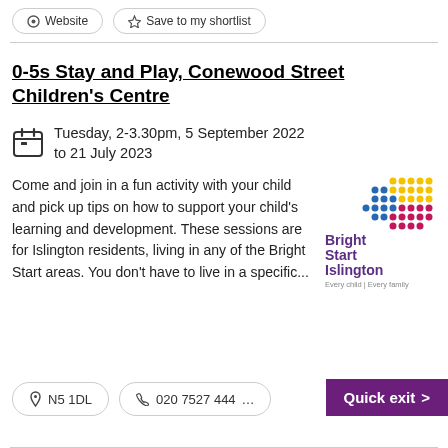Website | Save to my shortlist
0-5s Stay and Play, Conewood Street Children's Centre
Tuesday, 2-3.30pm, 5 September 2022 to 21 July 2023
Come and join in a fun activity with your child and pick up tips on how to support your child's learning and development. These sessions are for Islington residents, living in any of the Bright Start areas. You don't have to live in a specific...
[Figure (logo): Bright Start Islington logo — colourful dot pattern above text 'Bright Start Islington' and tagline 'Every child | Every family']
N5 1DL
020 7527 444…